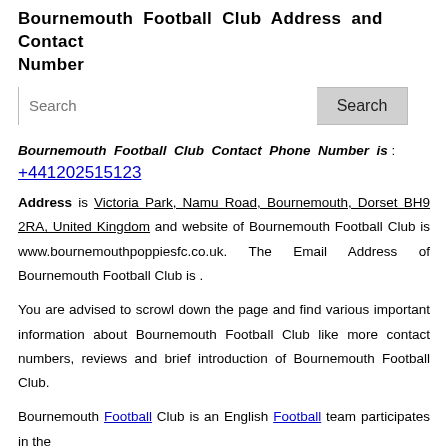Bournemouth Football Club Address and Contact Number
[Figure (other): Search bar with text input and Search button]
Bournemouth Football Club Contact Phone Number is : +441202515123
Address is Victoria Park, Namu Road, Bournemouth, Dorset BH9 2RA, United Kingdom and website of Bournemouth Football Club is www.bournemouthpoppiesfc.co.uk. The Email Address of Bournemouth Football Club is .
You are advised to scrowl down the page and find various important information about Bournemouth Football Club like more contact numbers, reviews and brief introduction of Bournemouth Football Club.
Bournemouth Football Club is an English Football team participates in the